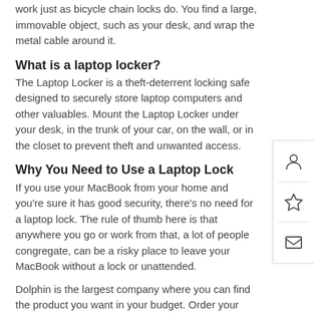work just as bicycle chain locks do. You find a large, immovable object, such as your desk, and wrap the metal cable around it.
What is a laptop locker?
The Laptop Locker is a theft-deterrent locking safe designed to securely store laptop computers and other valuables. Mount the Laptop Locker under your desk, in the trunk of your car, on the wall, or in the closet to prevent theft and unwanted access.
Why You Need to Use a Laptop Lock
If you use your MacBook from your home and you're sure it has good security, there's no need for a laptop lock. The rule of thumb here is that anywhere you go or work from that, a lot of people congregate, can be a risky place to leave your MacBook without a lock or unattended.
Dolphin is the largest company where you can find the product you want in your budget. Order your product online, you can pick from our showroom or anywhere you want. We sell 100% genuine products with warranty and support. You can connect with our support anytime they